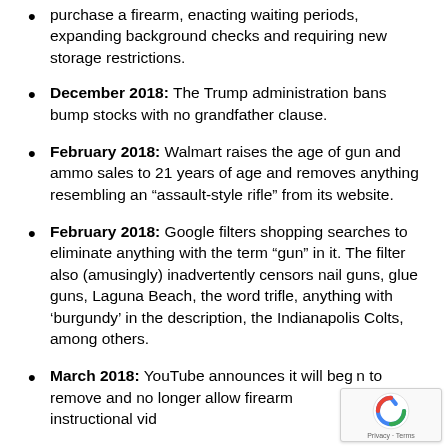purchase a firearm, enacting waiting periods, expanding background checks and requiring new storage restrictions.
December 2018: The Trump administration bans bump stocks with no grandfather clause.
February 2018: Walmart raises the age of gun and ammo sales to 21 years of age and removes anything resembling an “assault-style rifle” from its website.
February 2018: Google filters shopping searches to eliminate anything with the term “gun” in it. The filter also (amusingly) inadvertently censors nail guns, glue guns, Laguna Beach, the word trifle, anything with ‘burgundy’ in the description, the Indianapolis Colts, among others.
March 2018: YouTube announces it will begin to remove and no longer allow firearm instructional videos” Content intended to sell